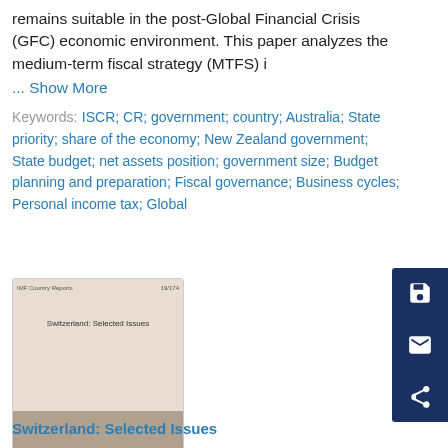remains suitable in the post-Global Financial Crisis (GFC) economic environment. This paper analyzes the medium-term fiscal strategy (MTFS) i
... Show More
Keywords:  ISCR; CR; government; country; Australia; State priority; share of the economy; New Zealand government; State budget; net assets position; government size; Budget planning and preparation; Fiscal governance; Business cycles; Personal income tax; Global
[Figure (photo): Thumbnail cover image of IMF Country Reports document titled 'Switzerland: Selected Issues', numbered 19/174. Cover has a beige/tan color scheme with darker tan bottom half.]
Switzerland: Selected Issues